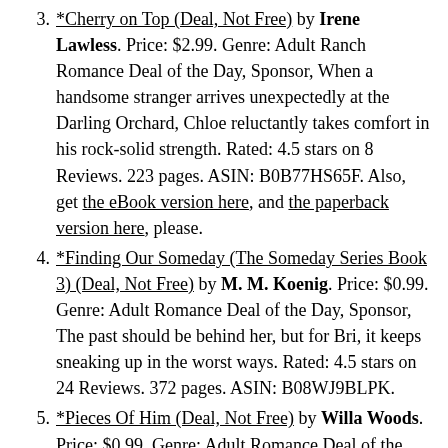3. *Cherry on Top (Deal, Not Free) by Irene Lawless. Price: $2.99. Genre: Adult Ranch Romance Deal of the Day, Sponsor, When a handsome stranger arrives unexpectedly at the Darling Orchard, Chloe reluctantly takes comfort in his rock-solid strength. Rated: 4.5 stars on 8 Reviews. 223 pages. ASIN: B0B77HS65F. Also, get the eBook version here, and the paperback version here, please.
4. *Finding Our Someday (The Someday Series Book 3) (Deal, Not Free) by M. M. Koenig. Price: $0.99. Genre: Adult Romance Deal of the Day, Sponsor, The past should be behind her, but for Bri, it keeps sneaking up in the worst ways. Rated: 4.5 stars on 24 Reviews. 372 pages. ASIN: B08WJ9BLPK.
5. *Pieces Of Him (Deal, Not Free) by Willa Woods. Price: $0.99. Genre: Adult Romance Deal of the Day, Sponsor, Her boss was the stranger she had